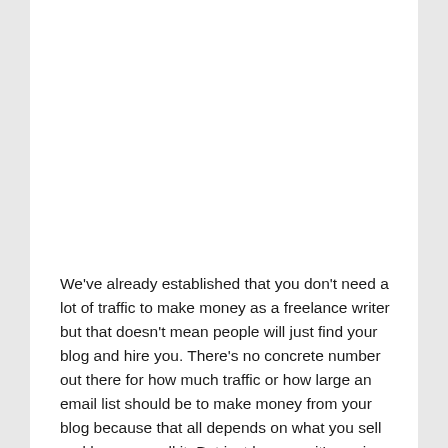We've already established that you don't need a lot of traffic to make money as a freelance writer but that doesn't mean people will just find your blog and hire you. There's no concrete number out there for how much traffic or how large an email list should be to make money from your blog because that all depends on what you sell and how you sell it. But just because it's easier to make money with your blog today, doesn't mean that most bloggers do. Why then for those of us trying to make money online do we think we can just figure it out ourselves? Having a solid, established